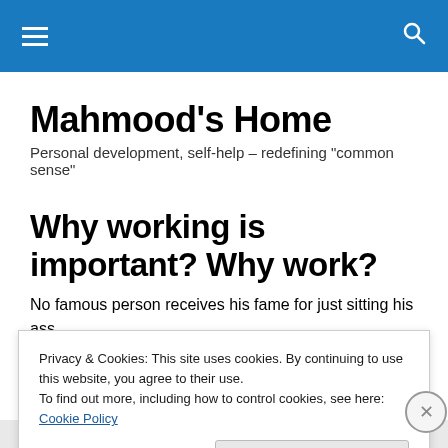Mahmood's Home – navigation bar
Mahmood's Home
Personal development, self-help – redefining "common sense"
Why working is important? Why work?
No famous person receives his fame for just sitting his ass
Privacy & Cookies: This site uses cookies. By continuing to use this website, you agree to their use.
To find out more, including how to control cookies, see here: Cookie Policy
Close and accept